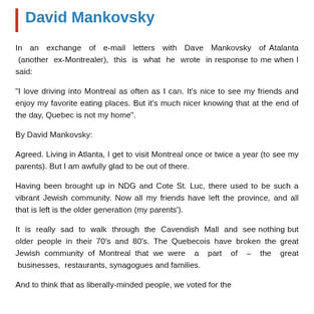David Mankovsky
In an exchange of e-mail letters with Dave Mankovsky of Atalanta (another ex-Montrealer), this is what he wrote in response to me when I said:
"I love driving into Montreal as often as I can. It’s nice to see my friends and enjoy my favorite eating places. But it’s much nicer knowing that at the end of the day, Quebec is not my home".
By David Mankovsky:
Agreed. Living in Atlanta, I get to visit Montreal once or twice a year (to see my parents). But I am awfully glad to be out of there.
Having been brought up in NDG and Cote St. Luc, there used to be such a vibrant Jewish community. Now all my friends have left the province, and all that is left is the older generation (my parents’).
It is really sad to walk through the Cavendish Mall and see nothing but older people in their 70’s and 80’s. The Quebecois have broken the great Jewish community of Montreal that we were a part of – the great businesses, restaurants, synagogues and families.
And to think that as liberally-minded people, we voted for the